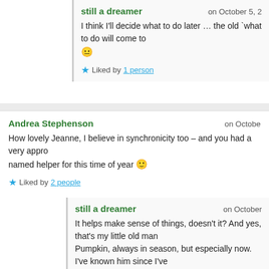still a dreamer on October 5, 2...
I think I'll decide what to do later … the old `what to do will come to 😐
Liked by 1 person
Andrea Stephenson on October...
How lovely Jeanne, I believe in synchronicity too – and you had a very appro named helper for this time of year 😐
Liked by 2 people
still a dreamer on October...
It helps make sense of things, doesn't it? And yes, that's my little old man Pumpkin, always in season, but especially now. I've known him since I've here. Once a pretty tough customer, but mellowed as he's aged.